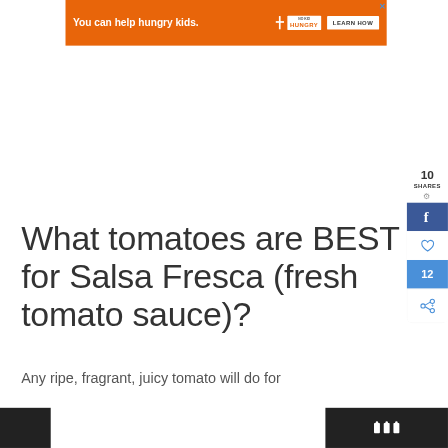[Figure (screenshot): Orange advertisement banner: 'You can help hungry kids.' with No Kid Hungry logo and LEARN HOW button]
What tomatoes are BEST for Salsa Fresca (fresh tomato sauce)?
[Figure (infographic): Social sharing sidebar showing 10 SHARES with Facebook, heart/save, count (12), and share icons]
Any ripe, fragrant, juicy tomato will do for